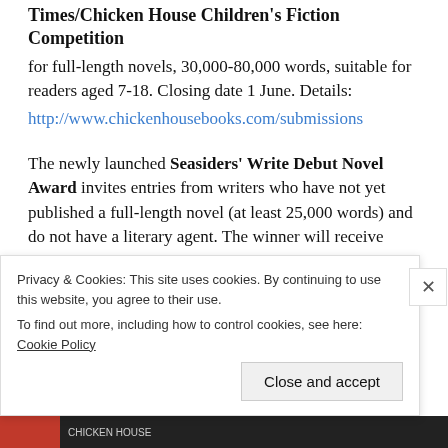Times/Chicken House Children's Fiction Competition
for full-length novels, 30,000-80,000 words, suitable for readers aged 7-18. Closing date 1 June. Details:
http://www.chickenhousebooks.com/submissions
The newly launched Seasiders' Write Debut Novel Award invites entries from writers who have not yet published a full-length novel (at least 25,000 words) and do not have a literary agent. The winner will receive £1,500 and their novel will be published by Seasiders' Write in print and ebook. The first runner up will receive £500 and ebook publication and the second runner-up will
Privacy & Cookies: This site uses cookies. By continuing to use this website, you agree to their use.
To find out more, including how to control cookies, see here: Cookie Policy
Close and accept